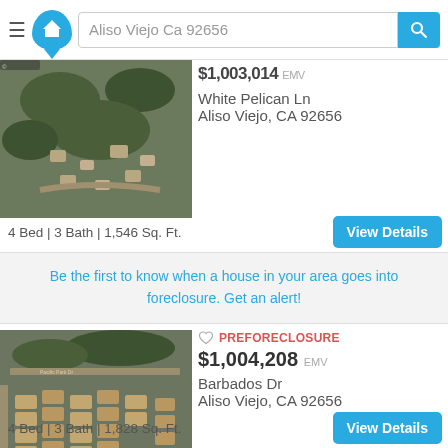Aliso Viejo Ca 92656
$1,003,014 EMV
White Pelican Ln
Aliso Viejo, CA 92656
[Figure (photo): Aerial satellite view of a residential neighborhood with trees and cul-de-sacs]
4 Bed | 3 Bath | 1,546 Sq. Ft.
Be the first to know when a house in your area goes into foreclosure. Get an alert!
[Figure (photo): Aerial satellite view of Barbados Dr neighborhood with Pacific Park Dr visible]
PREFORECLOSURE
$1,004,208 EMV
Barbados Dr
Aliso Viejo, CA 92656
4 Bed | 3 Bath | 1,828 Sq. Ft.